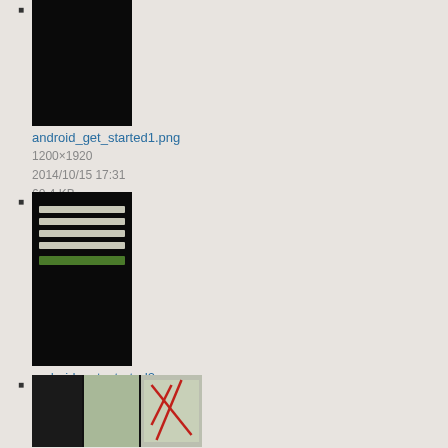android_get_started1.png
1200×1920
2014/10/15 17:31
60.4 KB
android_get_started2.png
1200×1920
2014/10/15 17:33
95 KB
android_hotspot_finder.png
534×295
2013/08/23 20:09